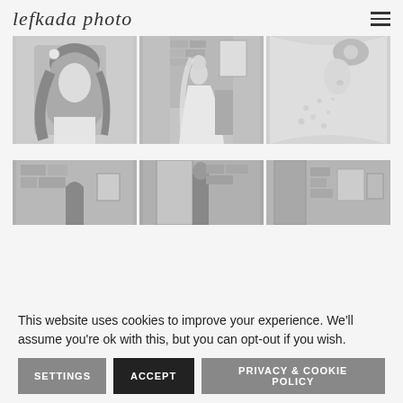lefkada photo
[Figure (photo): Three black and white wedding photos in a horizontal grid: left - close-up portrait of bride with floral hair piece, center - bride sitting in stone building wearing veil, right - detail of bride's lace dress back with veil]
[Figure (photo): Three black and white wedding photos in a horizontal grid showing stone building venue interior with doors and windows, partially visible]
This website uses cookies to improve your experience. We'll assume you're ok with this, but you can opt-out if you wish.
SETTINGS | ACCEPT | PRIVACY & COOKIE POLICY